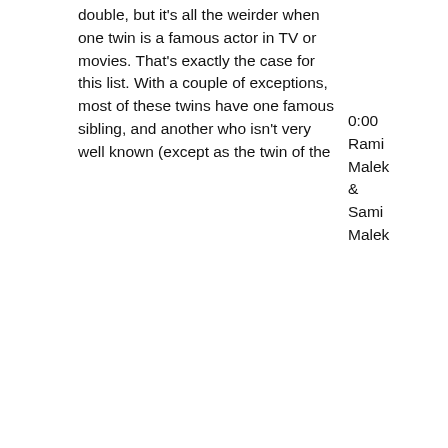double, but it's all the weirder when one twin is a famous actor in TV or movies. That's exactly the case for this list. With a couple of exceptions, most of these twins have one famous sibling, and another who isn't very well known (except as the twin of the
0:00 Rami Malek & Sami Malek
1:19 Laverne Cox & M Lamar
2:24 Ann B. Davis & Harriet Stott Davis Norton
3:44 Conrad Bain & Bonar Bain
4:48 Linda Hamilton & Leslie Hamilton Freas
6:23 Deidre Hall & Andrea Hall Gengler